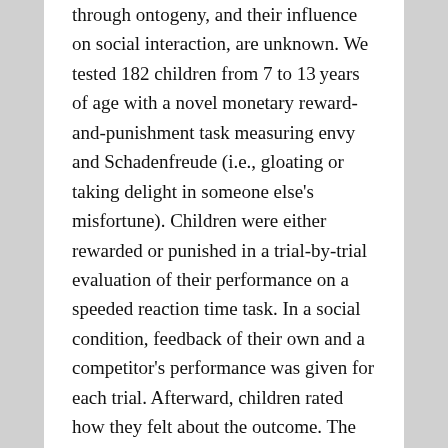through ontogeny, and their influence on social interaction, are unknown. We tested 182 children from 7 to 13 years of age with a novel monetary reward-and-punishment task measuring envy and Schadenfreude (i.e., gloating or taking delight in someone else's misfortune). Children were either rewarded or punished in a trial-by-trial evaluation of their performance on a speeded reaction time task. In a social condition, feedback of their own and a competitor's performance was given for each trial. Afterward, children rated how they felt about the outcome. The ratings suggest that when children won, they felt